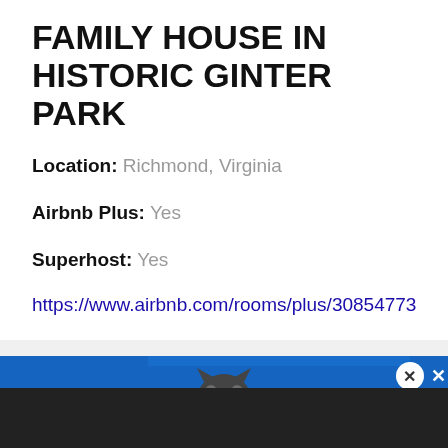FAMILY HOUSE IN HISTORIC GINTER PARK
Location: Richmond, Virginia
Airbnb Plus: Yes
Superhost: Yes
https://www.airbnb.com/rooms/plus/30854773
[Figure (screenshot): Advertisement banner for PAWFECT MATCH with blue background, cat illustration, and close buttons]